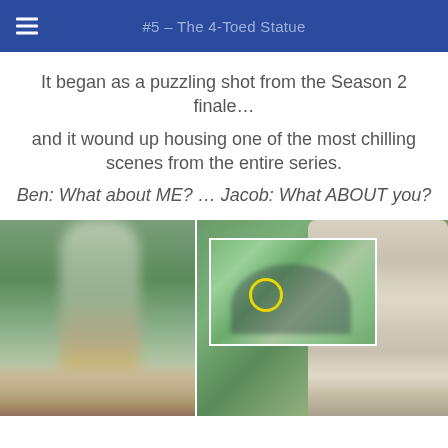#5 – The 4-Toed Statue
It began as a puzzling shot from the Season 2 finale…
and it wound up housing one of the most chilling scenes from the entire series.
Ben: What about ME? … Jacob: What ABOUT you?
[Figure (photo): Two photos side by side: left shows a blurred close-up of what appears to be a foot/leg in water or greenery; right shows a stone statue foot with visible toes in a landscape setting, with an inset family photo overlaid containing a yellow circle highlight on a detail in the background.]